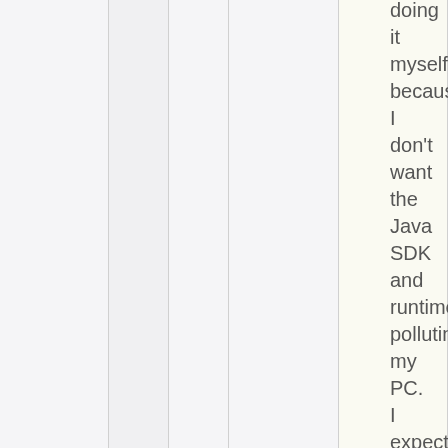doing it myself, because I don't want the Java SDK and runtime polluting my PC. I expect it to be comparable